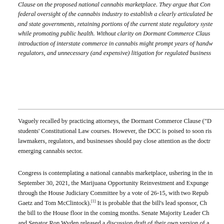Clause on the proposed national cannabis marketplace. They argue that Congress needs to exercise federal oversight of the cannabis industry to establish a clearly articulated balance between federal and state governments, retaining portions of the current state regulatory system where appropriate, while promoting public health. Without clarity on Dormant Commerce Clause issues, the introduction of interstate commerce in cannabis might prompt years of handwringing for lawmakers, regulators, and unnecessary (and expensive) litigation for regulated businesses.
Vaguely recalled by practicing attorneys, the Dormant Commerce Clause ("D... students' Constitutional Law courses. However, the DCC is poised to soon rise... lawmakers, regulators, and businesses should pay close attention as the doctr... emerging cannabis sector.
Congress is contemplating a national cannabis marketplace, ushering in the in... September 30, 2021, the Marijuana Opportunity Reinvestment and Expungement Act passed through the House Judiciary Committee by a vote of 26-15, with two Republican votes (Matt Gaetz and Tom McClintock).[1] It is probable that the bill's lead sponsor, Cha... the bill to the House floor in the coming months. Senate Majority Leader Chu... and Senator Ron Wyden released a discussion draft of their own version of a... (the Cannabis Administration and Opportunity Act) and will likely promote th... More recently, Republican Representative Nancy Mace, joined by Rep. McC...